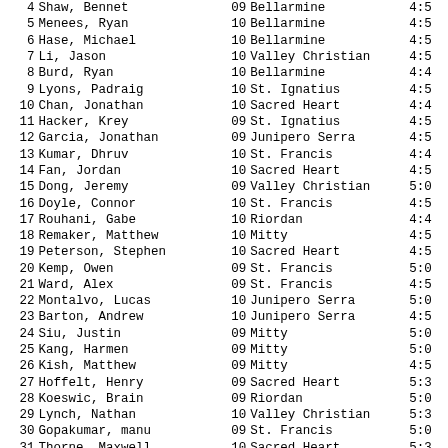| Place | Name | Gr | School | Time |
| --- | --- | --- | --- | --- |
| 4 | Shaw, Bennet | 09 | Bellarmine | 4:5 |
| 5 | Menees, Ryan | 10 | Bellarmine | 4:5 |
| 6 | Hase, Michael | 10 | Bellarmine | 4:5 |
| 7 | Li, Jason | 10 | Valley Christian | 4:5 |
| 8 | Burd, Ryan | 10 | Bellarmine | 4:4 |
| 9 | Lyons, Padraig | 10 | St. Ignatius | 4:5 |
| 10 | Chan, Jonathan | 10 | Sacred Heart | 4:4 |
| 11 | Hacker, Krey | 09 | St. Ignatius | 4:5 |
| 12 | Garcia, Jonathan | 09 | Junipero Serra | 4:5 |
| 13 | Kumar, Dhruv | 10 | St. Francis | 4:4 |
| 14 | Fan, Jordan | 10 | Sacred Heart | 4:5 |
| 15 | Dong, Jeremy | 09 | Valley Christian | 5:0 |
| 16 | Doyle, Connor | 10 | St. Francis | 4:5 |
| 17 | Rouhani, Gabe | 10 | Riordan | 4:4 |
| 18 | Remaker, Matthew | 10 | Mitty | 4:5 |
| 19 | Peterson, Stephen | 10 | Sacred Heart | 4:5 |
| 20 | Kemp, Owen | 09 | St. Francis | 5:0 |
| 21 | Ward, Alex | 09 | St. Francis | 4:5 |
| 22 | Montalvo, Lucas | 10 | Junipero Serra | 5:0 |
| 23 | Barton, Andrew | 10 | Junipero Serra | 4:5 |
| 24 | Siu, Justin | 09 | Mitty | 5:0 |
| 25 | Kang, Harmen | 09 | Mitty | 5:0 |
| 26 | Kish, Matthew | 09 | Mitty | 4:5 |
| 27 | Hoffelt, Henry | 09 | Sacred Heart | 5:3 |
| 28 | Koeswic, Brain | 09 | Riordan | 5:0 |
| 29 | Lynch, Nathan | 10 | Valley Christian | 5:3 |
| 30 | Gopakumar, manu | 09 | St. Francis | 5:0 |
| 31 | Thorne, Maxwell | 10 | Sacred Heart | 5:3 |
| 32 | Sandoval, Pedro | 10 | St. Ignatius | 5:0 |
| 33 | Meimban, Tycho | 09 | Riordan | 5:1 |
| 34 |  | 10 | Junipero Serra |  |